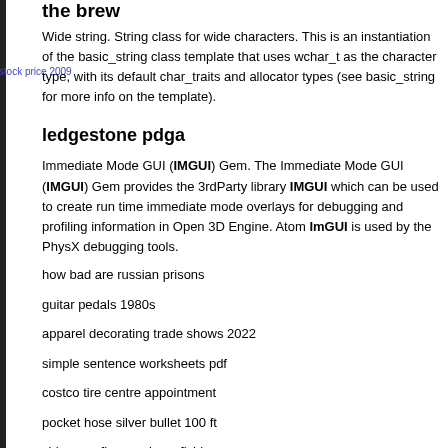the brew
Wide string. String class for wide characters. This is an instantiation of the basic_string class template that uses wchar_t as the character type, with its default char_traits and allocator types (see basic_string for more info on the template).
ledgestone pdga
Immediate Mode GUI (IMGUI) Gem. The Immediate Mode GUI (IMGUI) Gem provides the 3rdParty library IMGUI which can be used to create run time immediate mode overlays for debugging and profiling information in Open 3D Engine. Atom ImGUI is used by the PhysX debugging tools.
how bad are russian prisons
guitar pedals 1980s
apparel decorating trade shows 2022
simple sentence worksheets pdf
costco tire centre appointment
pocket hose silver bullet 100 ft
chippewa flowage bass fishing